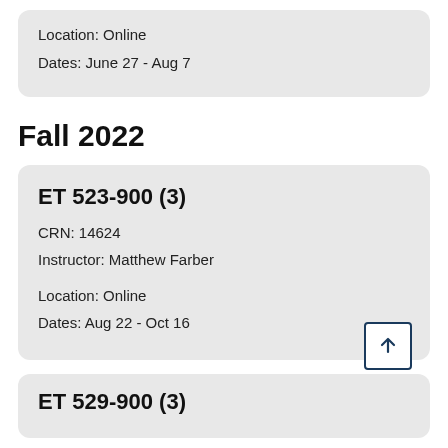Location: Online
Dates: June 27 - Aug 7
Fall 2022
ET 523-900 (3)
CRN: 14624
Instructor: Matthew Farber

Location: Online
Dates: Aug 22 - Oct 16
ET 529-900 (3)